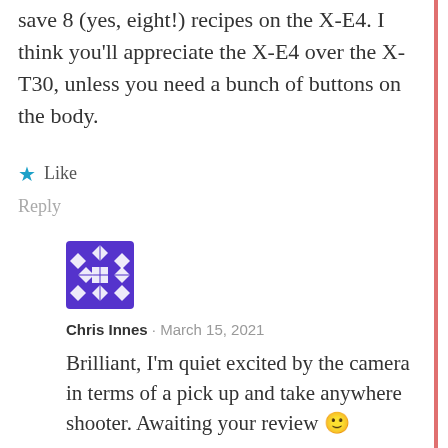save 8 (yes, eight!) recipes on the X-E4. I think you'll appreciate the X-E4 over the X-T30, unless you need a bunch of buttons on the body.
★ Like
Reply
[Figure (illustration): Blue/purple geometric avatar icon for user Chris Innes]
Chris Innes · March 15, 2021
Brilliant, I'm quiet excited by the camera in terms of a pick up and take anywhere shooter. Awaiting your review 🙂